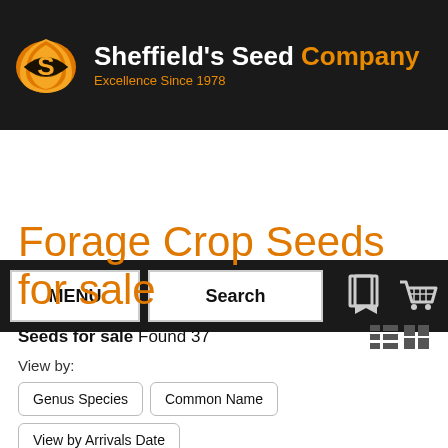Sheffield's Seed Company — Excellence Since 1978
[Figure (logo): Sheffield's Seed Company logo: orange flame/leaf shape with stylized S, next to company name in white/orange text and tagline 'Excellence Since 1978' in orange]
MENU | Search | [bookmark icon] [cart icon]
Forage Crop Seeds for sale
Seeds for sale Found 37
View by:
Genus Species
Common Name
View by Arrivals Date
All New Arrivals
Sort by price per packet